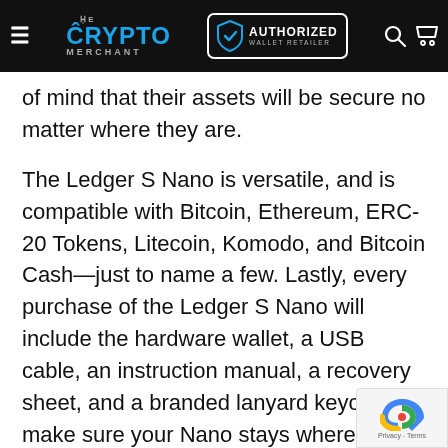The Crypto Merchant — Authorized Wallet Retailer
of mind that their assets will be secure no matter where they are.
The Ledger S Nano is versatile, and is compatible with Bitcoin, Ethereum, ERC-20 Tokens, Litecoin, Komodo, and Bitcoin Cash—just to name a few. Lastly, every purchase of the Ledger S Nano will include the hardware wallet, a USB cable, an instruction manual, a recovery sheet, and a branded lanyard keychain to make sure your Nano stays where you want it to.
For full product details, please see our product
[Figure (logo): reCAPTCHA badge with Privacy - Terms label]